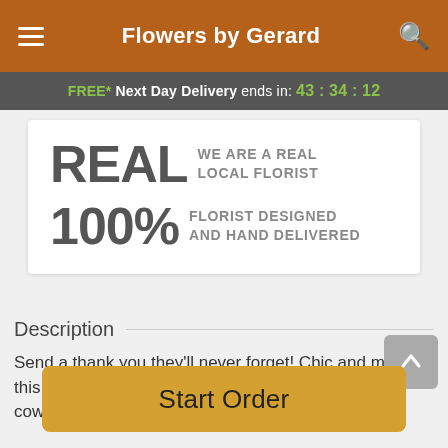Flowers by Gerard
FREE* Next Day Delivery ends in: 43:34:12
REAL  WE ARE A REAL LOCAL FLORIST
100%  FLORIST DESIGNED AND HAND DELIVERED
Description
Send a thank you they'll never forget! Chic and modern, this vibrant bouquet will thrill friends, family, and coworkers ...
Start Order